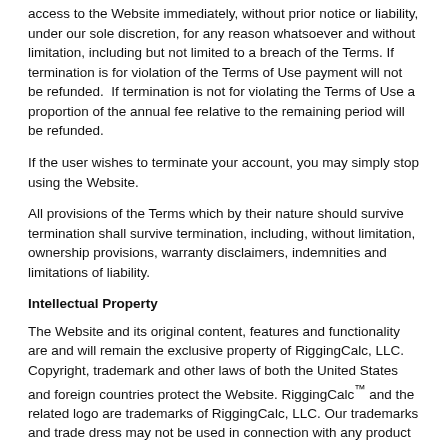access to the Website immediately, without prior notice or liability, under our sole discretion, for any reason whatsoever and without limitation, including but not limited to a breach of the Terms. If termination is for violation of the Terms of Use payment will not be refunded.  If termination is not for violating the Terms of Use a proportion of the annual fee relative to the remaining period will be refunded.
If the user wishes to terminate your account, you may simply stop using the Website.
All provisions of the Terms which by their nature should survive termination shall survive termination, including, without limitation, ownership provisions, warranty disclaimers, indemnities and limitations of liability.
Intellectual Property
The Website and its original content, features and functionality are and will remain the exclusive property of RiggingCalc, LLC. Copyright, trademark and other laws of both the United States and foreign countries protect the Website. RiggingCalc™ and the related logo are trademarks of RiggingCalc, LLC. Our trademarks and trade dress may not be used in connection with any product or service without the prior written consent of RiggingCalc, LLC.